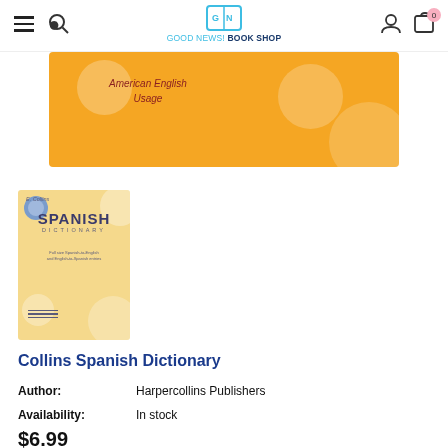GOOD NEWS! BOOK SHOP
[Figure (illustration): Orange promotional banner with decorative circles and italic text reading 'American English Usage']
[Figure (illustration): Book cover thumbnail for Collins Spanish Dictionary, yellow/cream cover with blue circles and text]
Collins Spanish Dictionary
Author: Harpercollins Publishers
Availability: In stock
$6.99